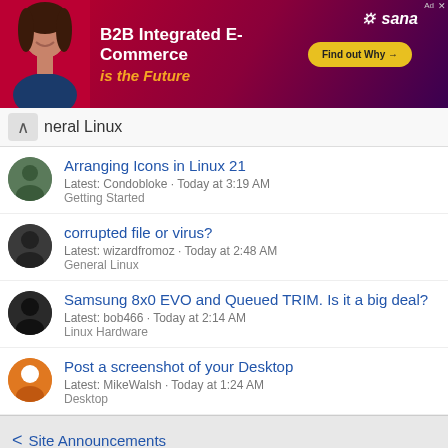[Figure (infographic): Banner advertisement for Sana B2B Integrated E-Commerce with woman photo, text 'B2B Integrated E-Commerce is the Future', 'Find out Why' button]
General Linux
Arranging Icons in Linux 21
Latest: Condobloke · Today at 3:19 AM
Getting Started
corrupted file or virus?
Latest: wizardfromoz · Today at 2:48 AM
General Linux
Samsung 8x0 EVO and Queued TRIM. Is it a big deal?
Latest: bob466 · Today at 2:14 AM
Linux Hardware
Post a screenshot of your Desktop
Latest: MikeWalsh · Today at 1:24 AM
Desktop
Site Announcements